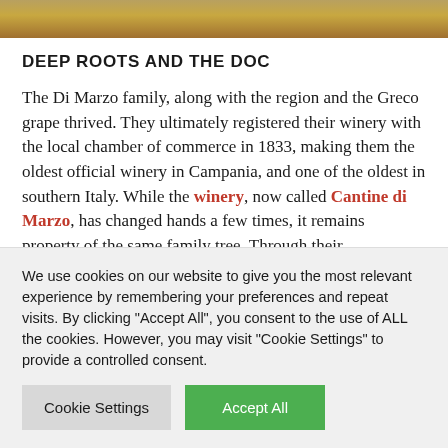[Figure (photo): Partial photo of grapes or wine-related imagery at the top of the page, cropped strip showing golden/brown tones]
DEEP ROOTS AND THE DOC
The Di Marzo family, along with the region and the Greco grape thrived. They ultimately registered their winery with the local chamber of commerce in 1833, making them the oldest official winery in Campania, and one of the oldest in southern Italy. While the winery, now called Cantine di Marzo, has changed hands a few times, it remains property of the same family tree. Through their
We use cookies on our website to give you the most relevant experience by remembering your preferences and repeat visits. By clicking "Accept All", you consent to the use of ALL the cookies. However, you may visit "Cookie Settings" to provide a controlled consent.